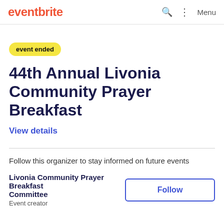eventbrite
event ended
44th Annual Livonia Community Prayer Breakfast
View details
Follow this organizer to stay informed on future events
Livonia Community Prayer Breakfast Committee
Event creator
Follow